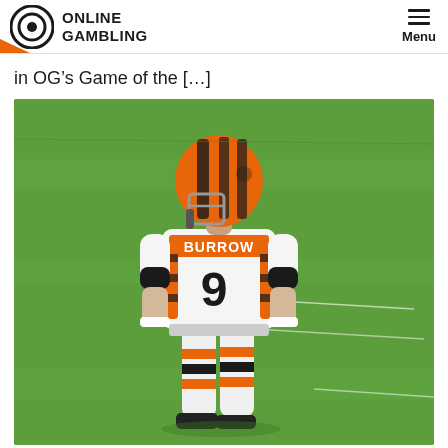ONLINE GAMBLING | Menu
in OG’s Game of the […]
[Figure (photo): Cincinnati Bengals NFL player wearing jersey number 9 with name BURROW on the back, standing on a green football field, viewed from behind. Player wears orange and black striped Bengals uniform with helmet.]